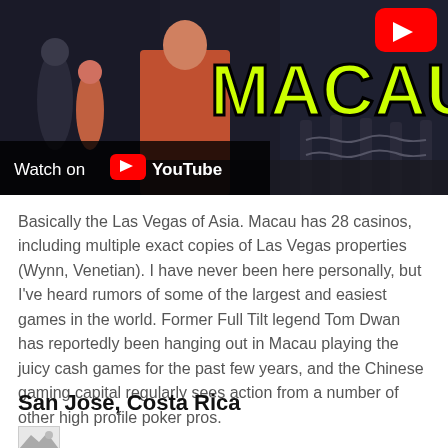[Figure (screenshot): YouTube video thumbnail showing a street scene with people walking, with 'MACAU' text in large yellow-green graffiti letters, a YouTube play button in the top right, and a 'Watch on YouTube' overlay bar at the bottom left.]
Basically the Las Vegas of Asia.  Macau has 28 casinos, including multiple exact copies of Las Vegas properties (Wynn, Venetian).  I have never been here personally, but I've heard rumors of some of the largest and easiest games in the world.  Former Full Tilt legend Tom Dwan has reportedly been hanging out in Macau playing the juicy cash games for the past few years, and the Chinese gaming capital regularly sees action from a number of other high profile poker pros.
San Jose, Costa Rica
[Figure (photo): Partially visible image at bottom of page (cropped)]